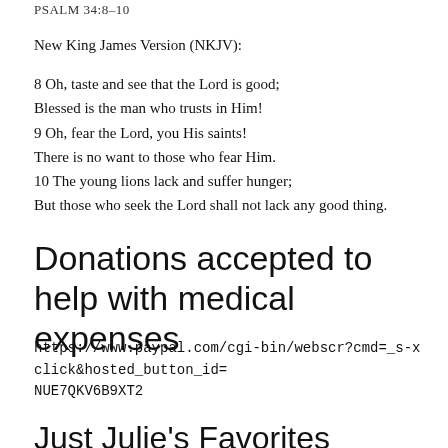PSALM 34:8–10
New King James Version (NKJV):
8 Oh, taste and see that the Lord is good;
Blessed is the man who trusts in Him!
9 Oh, fear the Lord, you His saints!
There is no want to those who fear Him.
10 The young lions lack and suffer hunger;
But those who seek the Lord shall not lack any good thing.
Donations accepted to help with medical expenses
https://www.paypal.com/cgi-bin/webscr?cmd=_s-xclick&hosted_button_id=
NUE7QKV6B9XT2
Just Julie's Favorites